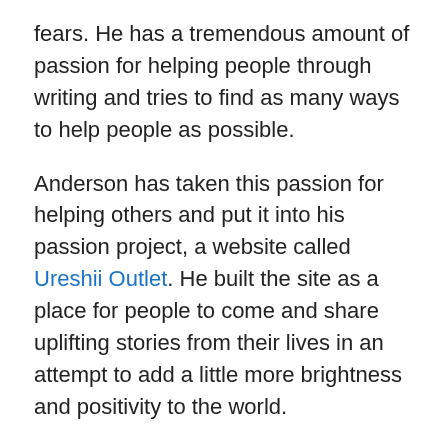fears. He has a tremendous amount of passion for helping people through writing and tries to find as many ways to help people as possible.
Anderson has taken this passion for helping others and put it into his passion project, a website called Ureshii Outlet. He built the site as a place for people to come and share uplifting stories from their lives in an attempt to add a little more brightness and positivity to the world.
Prior to studying at the University of Utah, in 2014, Anderson spent two years living in Japan as a missionary for the Church of Jesus Christ of Latter-day Saints. During this time he taught English to the people of Japan and spent time learning the language from the local people. This time proved critical to his development in the field of journalism. Seeing more of the world gave a new